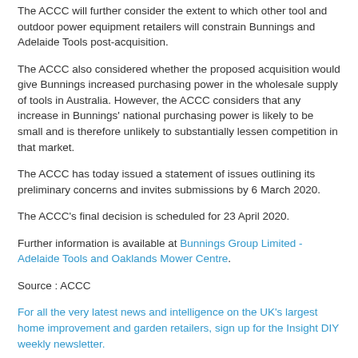The ACCC will further consider the extent to which other tool and outdoor power equipment retailers will constrain Bunnings and Adelaide Tools post-acquisition.
The ACCC also considered whether the proposed acquisition would give Bunnings increased purchasing power in the wholesale supply of tools in Australia. However, the ACCC considers that any increase in Bunnings' national purchasing power is likely to be small and is therefore unlikely to substantially lessen competition in that market.
The ACCC has today issued a statement of issues outlining its preliminary concerns and invites submissions by 6 March 2020.
The ACCC's final decision is scheduled for 23 April 2020.
Further information is available at Bunnings Group Limited - Adelaide Tools and Oaklands Mower Centre.
Source : ACCC
For all the very latest news and intelligence on the UK's largest home improvement and garden retailers, sign up for the Insight DIY weekly newsletter.